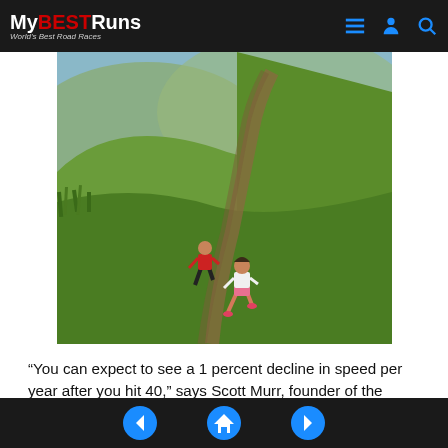MyBESTRuns — World's Best Road Races
[Figure (photo): Two trail runners (one in red shirt, one in white shirt) running along a dirt path through green grassy hills]
“You can expect to see a 1 percent decline in speed per year after you hit 40,” says Scott Murr, founder of the Furman Institute of Running and Scientific Training at Furman University. “And that assumes you’re training properly. If you’re not, you can expect bigger declines.”
But plenty of runners have been successful well into their forties, particularly endurance runners. “I was
Navigation: back, home, forward